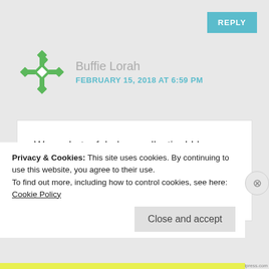REPLY
[Figure (illustration): Green quilt/snowflake pattern avatar icon]
Buffie Lorah
FEBRUARY 15, 2018 AT 6:59 PM
Wow what a fabulous collection! I love color and can't help but make them all present in each quilt lately.
★ Like
Privacy & Cookies: This site uses cookies. By continuing to use this website, you agree to their use.
To find out more, including how to control cookies, see here: Cookie Policy
Close and accept